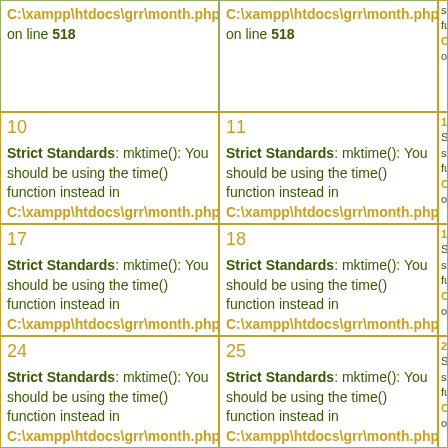| C:\xampp\htdocs\grr\month.php on line 518 | C:\xampp\htdocs\grr\month.php on line 518 | sh... fu... C:\ on... |
| 10
Strict Standards: mktime(): You should be using the time() function instead in C:\xampp\htdocs\grr\month.php on line 518 | 11
Strict Standards: mktime(): You should be using the time() function instead in C:\xampp\htdocs\grr\month.php on line 518 | 12
Str... sho... fur... C:\ on... |
| 17
Strict Standards: mktime(): You should be using the time() function instead in C:\xampp\htdocs\grr\month.php on line 518 | 18
Strict Standards: mktime(): You should be using the time() function instead in C:\xampp\htdocs\grr\month.php on line 518 | 19
Str... sho... fur... C:\ on... |
| 24
Strict Standards: mktime(): You should be using the time() function instead in C:\xampp\htdocs\grr\month.php on line 518 | 25
Strict Standards: mktime(): You should be using the time() function instead in C:\xampp\htdocs\grr\month.php on line 518 | 26
Str... sho... fur... C:\ on... |